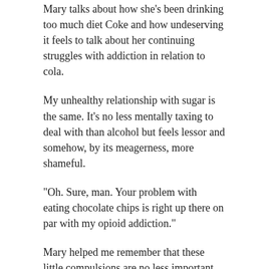Mary talks about how she's been drinking too much diet Coke and how undeserving it feels to talk about her continuing struggles with addiction in relation to cola.
My unhealthy relationship with sugar is the same. It's no less mentally taxing to deal with than alcohol but feels lessor and somehow, by its meagerness, more shameful.
“Oh. Sure, man. Your problem with eating chocolate chips is right up there on par with my opioid addiction.”
Mary helped me remember that these little compulsions are no less important for me to recognize and manage.
If you’re in the creative field and working through mental health issues, you really should give Mary’s podcast a listen.
[Figure (infographic): Social media share icons: Facebook (blue), Twitter (light blue), Reddit (grey), Pinterest (red), LinkedIn (dark blue), Email (grey)]